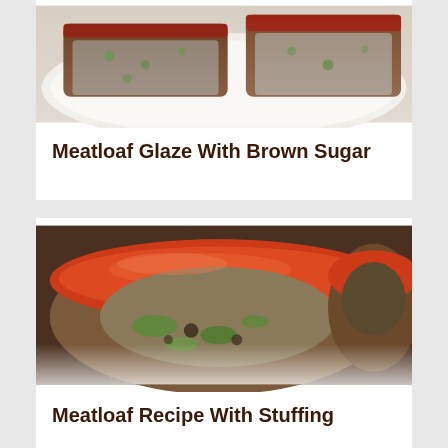[Figure (photo): Photo of sliced meatloaf with brown sugar glaze on a white plate, top portion cropped]
Meatloaf Glaze With Brown Sugar
[Figure (photo): Close-up photo of meatloaf with stuffing showing glazed top with red tomato glaze and green pepper stuffing inside]
Meatloaf Recipe With Stuffing